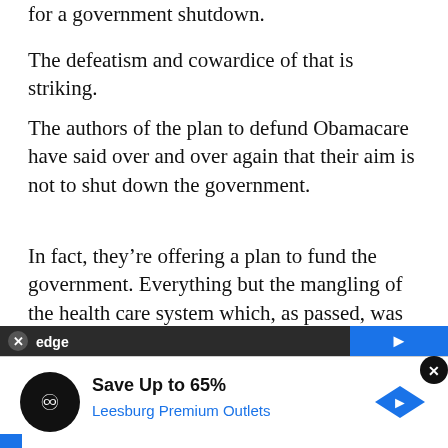for a government shutdown.
The defeatism and cowardice of that is striking.
The authors of the plan to defund Obamacare have said over and over again that their aim is not to shut down the government.
In fact, they’re offering a plan to fund the government. Everything but the mangling of the health care system which, as passed, was unconstitutional. If the government is to be shut down, it will be Democrats who chose to shut it down.
[Figure (other): Advertisement banner for Leesburg Premium Outlets with Edge branding, showing 'Save Up to 65%' offer]